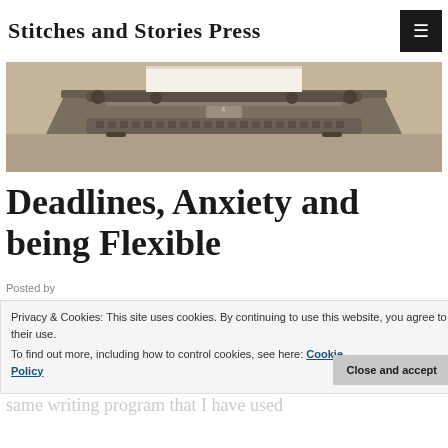Stitches and Stories Press
[Figure (photo): Sepia-toned photograph of a vintage typewriter with a blank sheet of paper loaded, viewed from the front at a slight angle.]
Deadlines, Anxiety and being Flexible
Posted by
Privacy & Cookies: This site uses cookies. By continuing to use this website, you agree to their use. To find out more, including how to control cookies, see here: Cookie Policy
We all have our favorite writing tools, places or may be even a favorite process. For me, I live do to have a desktop computer. I do everything on my laptop. I also use the same writing program that I have used...